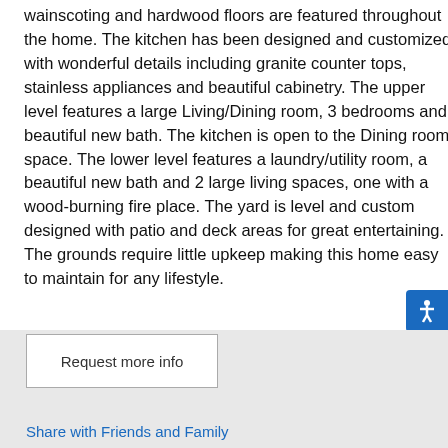wainscoting and hardwood floors are featured throughout the home. The kitchen has been designed and customized with wonderful details including granite counter tops, stainless appliances and beautiful cabinetry. The upper level features a large Living/Dining room, 3 bedrooms and beautiful new bath. The kitchen is open to the Dining room space. The lower level features a laundry/utility room, a beautiful new bath and 2 large living spaces, one with a wood-burning fire place. The yard is level and custom designed with patio and deck areas for great entertaining. The grounds require little upkeep making this home easy to maintain for any lifestyle.
Request more info
Share with Friends and Family